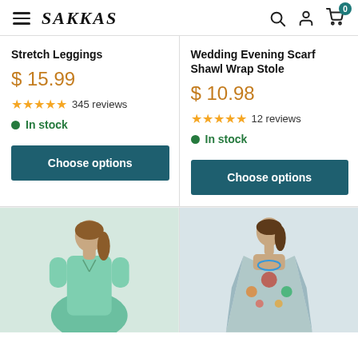SAKKAS — navigation header with menu, search, account, and cart icons
Stretch Leggings
$ 15.99
★★★★★ 345 reviews
In stock
Choose options
Wedding Evening Scarf Shawl Wrap Stole
$ 10.98
★★★★★ 12 reviews
In stock
Choose options
[Figure (photo): Woman wearing a teal/mint short-sleeve dress with lace-up neckline detail]
[Figure (photo): Woman wearing a colorful bohemian kaftan/tunic with floral and geometric patterns]